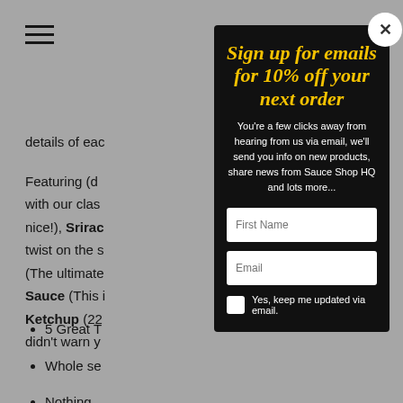☰ (hamburger menu icon)
details of eac
Featuring (d... with our cla... nice!), Srirac... twist on the s... (The ultimate... Sauce (This i... Ketchup (22... didn't warn y...
5 Great T...
Whole se...
Nothing...
Sign up for emails for 10% off your next order
You're a few clicks away from hearing from us via email, we'll send you info on new products, share news from Sauce Shop HQ and lots more...
First Name
Email
Yes, keep me updated via email.